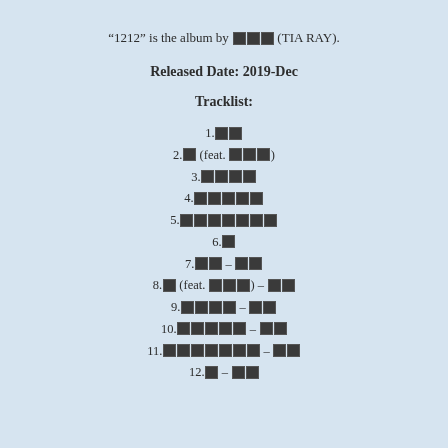“1212” is the album by ███ (TIA RAY).
Released Date: 2019-Dec
Tracklist:
1.██
2.█ (feat. ███)
3.████
4.█████
5.███████
6.█
7.██ – ██
8.█ (feat. ███) – ██
9.████ – ██
10.█████ – ██
11.███████ – ██
12.█ – ██